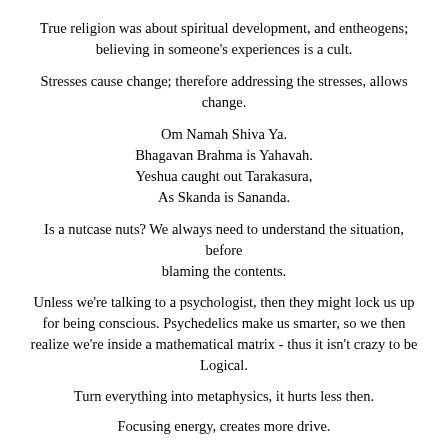True religion was about spiritual development, and entheogens; believing in someone's experiences is a cult.
Stresses cause change; therefore addressing the stresses, allows change.
Om Namah Shiva Ya.
Bhagavan Brahma is Yahavah.
Yeshua caught out Tarakasura,
As Skanda is Sananda.
Is a nutcase nuts? We always need to understand the situation, before blaming the contents.
Unless we're talking to a psychologist, then they might lock us up for being conscious. Psychedelics make us smarter, so we then realize we're inside a mathematical matrix - thus it isn't crazy to be Logical.
Turn everything into metaphysics, it hurts less then.
Focusing energy, creates more drive.
Part of feeling alive, is to create life.
However it'll come and go, and their life on their journey depends...